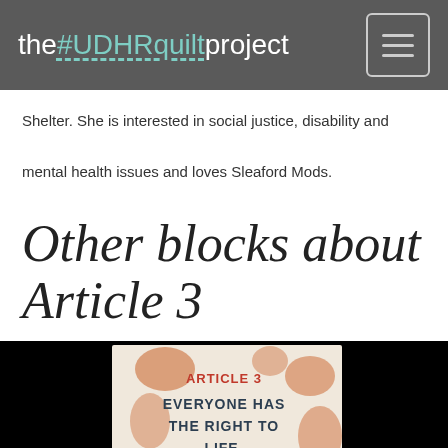the#UDHRquiltproject
Shelter. She is interested in social justice, disability and mental health issues and loves Sleaford Mods.
Other blocks about Article 3
[Figure (photo): A quilt block showing text 'ARTICLE 3 EVERYONE HAS THE RIGHT TO LIFE LIBERTY AND' on a light fabric background with decorative orange/red painted or stamped floral/organic shapes, displayed against a black background.]